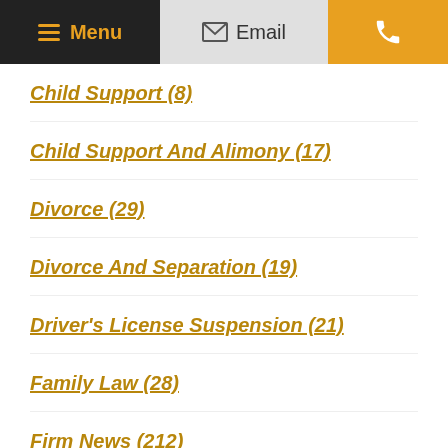Menu | Email | Phone
Child Support (8)
Child Support And Alimony (17)
Divorce (29)
Divorce And Separation (19)
Driver's License Suspension (21)
Family Law (28)
Firm News (212)
Habitual Offender (1)